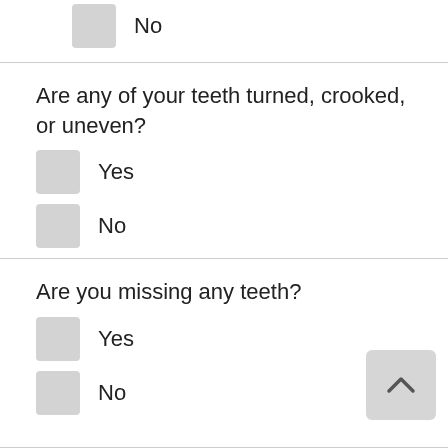No
Are any of your teeth turned, crooked, or uneven?
Yes
No
Are you missing any teeth?
Yes
No